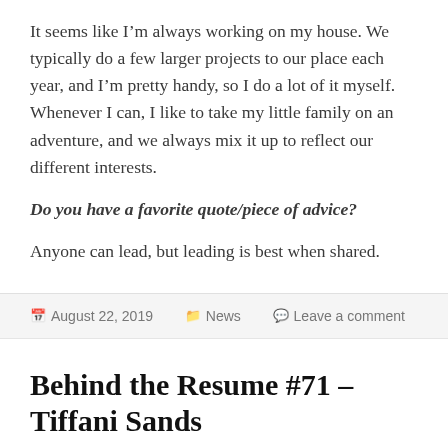It seems like I'm always working on my house. We typically do a few larger projects to our place each year, and I'm pretty handy, so I do a lot of it myself. Whenever I can, I like to take my little family on an adventure, and we always mix it up to reflect our different interests.
Do you have a favorite quote/piece of advice?
Anyone can lead, but leading is best when shared.
August 22, 2019   News   Leave a comment
Behind the Resume #71 – Tiffani Sands